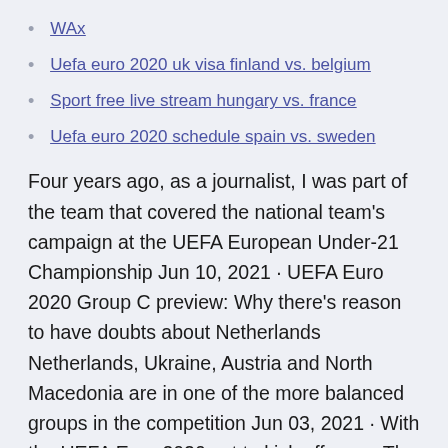WAx
Uefa euro 2020 uk visa finland vs. belgium
Sport free live stream hungary vs. france
Uefa euro 2020 schedule spain vs. sweden
Four years ago, as a journalist, I was part of the team that covered the national team's campaign at the UEFA European Under-21 Championship Jun 10, 2021 · UEFA Euro 2020 Group C preview: Why there's reason to have doubts about Netherlands Netherlands, Ukraine, Austria and North Macedonia are in one of the more balanced groups in the competition Jun 03, 2021 · With the UEFA Euro 2020 set to kick off soon, The Hard Tackle takes a closer look at Group C, comprising Austria, Netherlands, North Macedonia & Ukraine. Following a